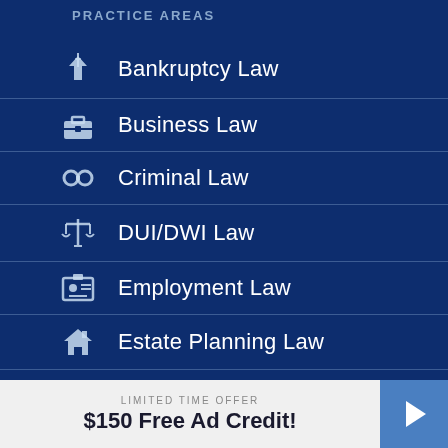PRACTICE AREAS
Bankruptcy Law
Business Law
Criminal Law
DUI/DWI Law
Employment Law
Estate Planning Law
Family Law
LIMITED TIME OFFER
$150 Free Ad Credit!